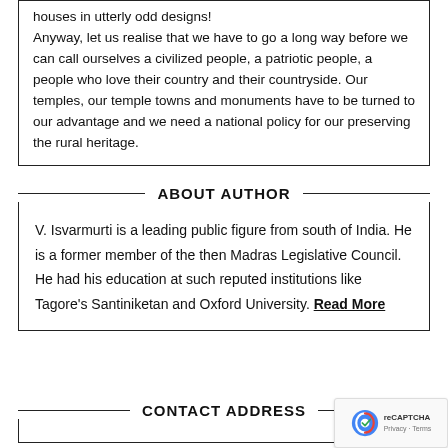houses in utterly odd designs!
Anyway, let us realise that we have to go a long way before we can call ourselves a civilized people, a patriotic people, a people who love their country and their countryside. Our temples, our temple towns and monuments have to be turned to our advantage and we need a national policy for our preserving the rural heritage.
ABOUT AUTHOR
V. Isvarmurti is a leading public figure from south of India. He is a former member of the then Madras Legislative Council. He had his education at such reputed institutions like Tagore's Santiniketan and Oxford University. Read More
CONTACT ADDRESS